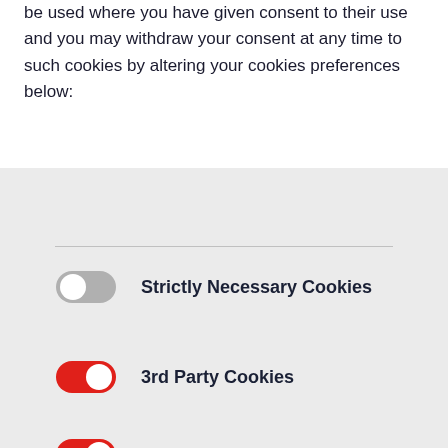be used where you have given consent to their use and you may withdraw your consent at any time to such cookies by altering your cookies preferences below:
[Figure (screenshot): Cookie preferences panel with three toggle switches: 'Strictly Necessary Cookies' (off/grey), '3rd Party Cookies' (on/red), 'Additional Cookies' (on/red), and a 'Save Settings' button in orange-brown.]